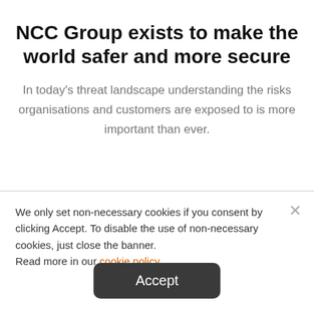NCC Group exists to make the world safer and more secure
In today's threat landscape understanding the risks organisations and customers are exposed to is more important than ever.
We only set non-necessary cookies if you consent by clicking Accept. To disable the use of non-necessary cookies, just close the banner.
Read more in our cookie policy.